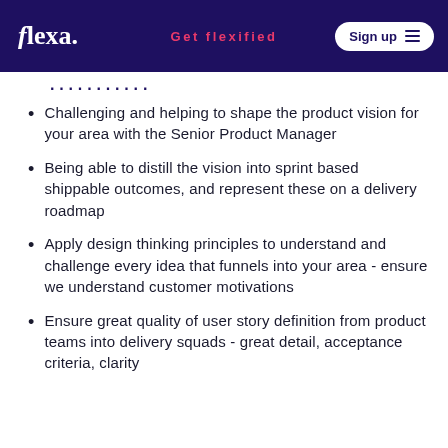flexa. | Get flexified | Sign up
Challenging and helping to shape the product vision for your area with the Senior Product Manager
Being able to distill the vision into sprint based shippable outcomes, and represent these on a delivery roadmap
Apply design thinking principles to understand and challenge every idea that funnels into your area - ensure we understand customer motivations
Ensure great quality of user story definition from product teams into delivery squads - great detail, acceptance criteria, clarity